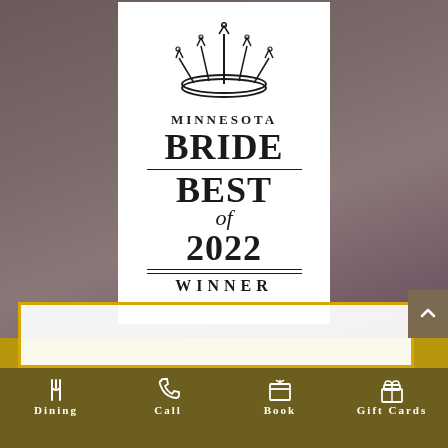[Figure (logo): Minnesota Bride Best of 2022 Winner award badge on white card background, featuring a crown illustration at top, then text: MINNESOTA BRIDE BEST of 2022 WINNER with decorative lines]
[Figure (screenshot): Website navigation bar at bottom showing gold/olive background with icons and labels: Dining (utensils icon), Call (phone icon), Book (gift/calendar icon), Gift Cards (gift box icon). Above nav bar is a gold-bordered white content area partially visible.]